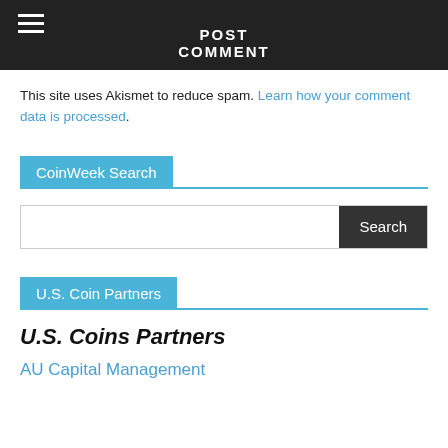POST COMMENT
This site uses Akismet to reduce spam. Learn how your comment data is processed.
CoinWeek Search
Search
U.S. Coin Partners
U.S. Coins Partners
AU Capital Management